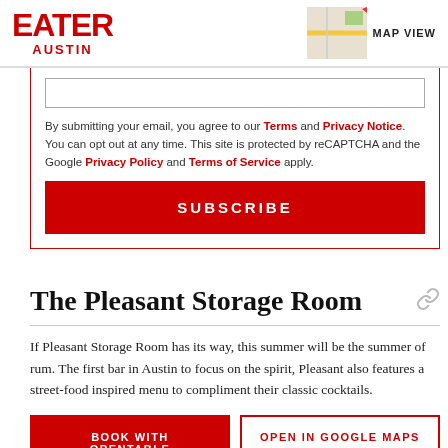EATER AUSTIN | MAP VIEW
By submitting your email, you agree to our Terms and Privacy Notice. You can opt out at any time. This site is protected by reCAPTCHA and the Google Privacy Policy and Terms of Service apply.
SUBSCRIBE
The Pleasant Storage Room
If Pleasant Storage Room has its way, this summer will be the summer of rum. The first bar in Austin to focus on the spirit, Pleasant also features a street-food inspired menu to compliment their classic cocktails.
BOOK WITH OPENTABLE | OPEN IN GOOGLE MAPS